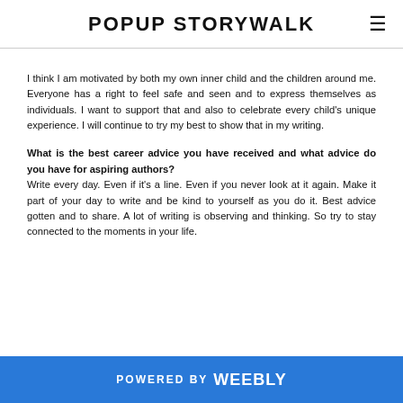POPUP STORYWALK
I think I am motivated by both my own inner child and the children around me. Everyone has a right to feel safe and seen and to express themselves as individuals. I want to support that and also to celebrate every child's unique experience. I will continue to try my best to show that in my writing.
What is the best career advice you have received and what advice do you have for aspiring authors? Write every day. Even if it's a line. Even if you never look at it again. Make it part of your day to write and be kind to yourself as you do it. Best advice gotten and to share. A lot of writing is observing and thinking. So try to stay connected to the moments in your life.
POWERED BY weebly